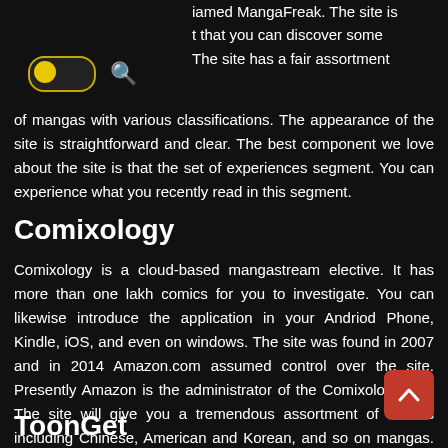named MangaFreak. The site is t that you can discover some The site has a fair assortment
of mangas with various classifications. The appearance of the site is straightforward and clear. The best component we love about the site is that the set of experiences segment. You can experience what you recently read in this segment.
Comixology
Comixology is a cloud-based mangastream elective. It has more than one lakh comics for you to investigate. You can likewise introduce the application in your Andriod Phone, Kindle, iOS, and even on windows. The site was found in 2007 and in 2014 Amazon.com assumed control over the site. Presently Amazon is the administrator of the Comixology site. The site will give you a tremendous assortment of comics including Chinese, American and Korean, and so on mangas. The vibe of the site is premium however the substance is paid.
ToonGet